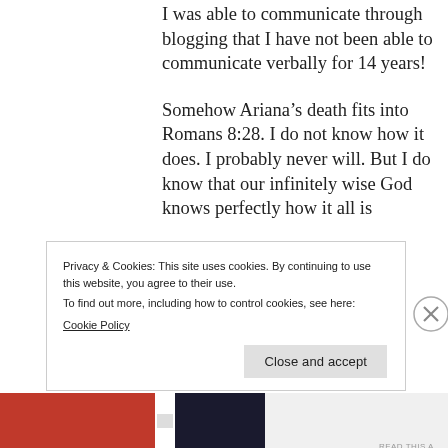I was able to communicate through blogging that I have not been able to communicate verbally for 14 years!
Somehow Ariana’s death fits into Romans 8:28. I do not know how it does. I probably never will. But I do know that our infinitely wise God knows perfectly how it all is
Privacy & Cookies: This site uses cookies. By continuing to use this website, you agree to their use.
To find out more, including how to control cookies, see here:
Cookie Policy
Close and accept